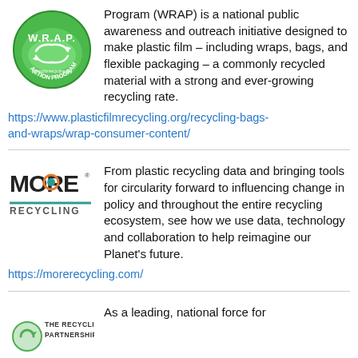[Figure (logo): W.R.A.P. Action Program logo - circular green badge with recycling arrows and US map]
Program (WRAP) is a national public awareness and outreach initiative designed to make plastic film – including wraps, bags, and flexible packaging – a commonly recycled material with a strong and ever-growing recycling rate.
https://www.plasticfilmrecycling.org/recycling-bags-and-wraps/wrap-consumer-content/
[Figure (logo): MORE RECYCLING logo with teal/orange circular icon and teal underline bar]
From plastic recycling data and bringing tools for circularity forward to influencing change in policy and throughout the entire recycling ecosystem, see how we use data, technology and collaboration to help reimagine our Planet's future.
https://morerecycling.com/
[Figure (logo): The Recycling Partnership logo - circular green icon with organization name]
As a leading, national force for